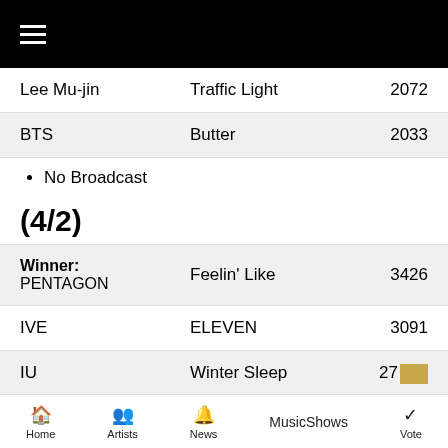[Figure (screenshot): Black top navigation bar with hamburger menu icon (three horizontal white lines)]
| Artist | Song | Score |
| --- | --- | --- |
| Lee Mu-jin | Traffic Light | 2072 |
| BTS | Butter | 2033 |
No Broadcast
(4/2)
| Artist | Song | Score |
| --- | --- | --- |
| Winner: PENTAGON | Feelin' Like | 3426 |
| IVE | ELEVEN | 3091 |
| IU | Winter Sleep | 27[hidden] |
Home  Artists  News  MusicShows  Vote